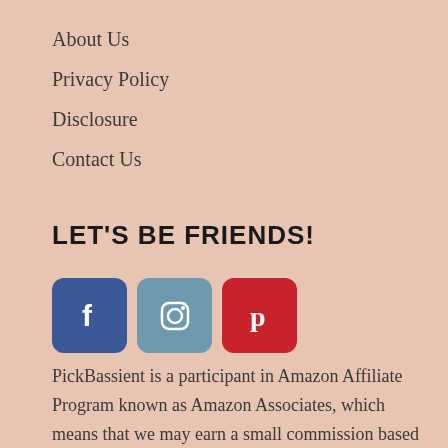About Us
Privacy Policy
Disclosure
Contact Us
LET'S BE FRIENDS!
[Figure (infographic): Three social media icon buttons: Facebook (blue), Instagram (steel blue), Pinterest (red)]
PickBassient is a participant in Amazon Affiliate Program known as Amazon Associates, which means that we may earn a small commission based on qualifying sales from our affiliate link. Read further in our affiliate disclosure.